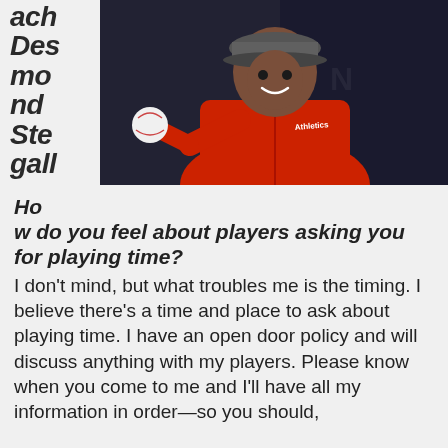ach Desmond Stegall
[Figure (photo): Photo of Desmond Stegall, a smiling man in a red zip-up jacket and gray cap, holding a baseball toward the camera, with a dark indoor background]
How do you feel about players asking you for playing time?
I don't mind, but what troubles me is the timing. I believe there's a time and place to ask about playing time. I have an open door policy and will discuss anything with my players. Please know when you come to me and I'll have all my information in order—so you should,